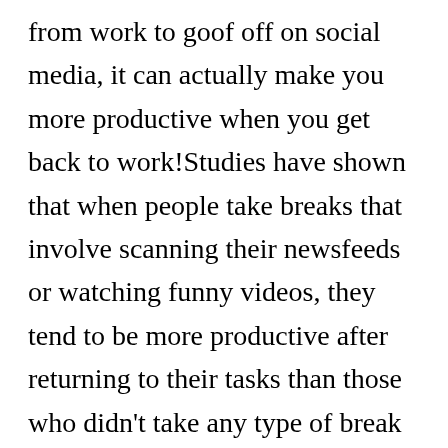from work to goof off on social media, it can actually make you more productive when you get back to work!Studies have shown that when people take breaks that involve scanning their newsfeeds or watching funny videos, they tend to be more productive after returning to their tasks than those who didn't take any type of break at all. So if you need a little motivation to get through your workday, turn on some hilarious cat videos on YouTube and see how much more quickly you finish up what needs done!

Finally, having fun on social media is just plain enjoyable. It's a great way to let off steam and relieve stress after long days or tough weeks at